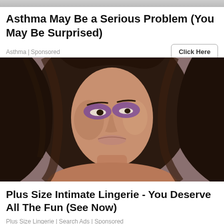Asthma May Be a Serious Problem (You May Be Surprised)
Asthma | Sponsored
[Figure (photo): Close-up portrait of a young woman with long dark wavy hair, wearing dramatic purple eye makeup, against a muted brownish-purple background.]
Plus Size Intimate Lingerie - You Deserve All The Fun (See Now)
Plus Size Lingerie | Search Ads | Sponsored